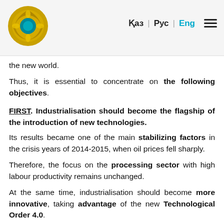Қаз | Рус | Eng
the new world.
Thus, it is essential to concentrate on the following objectives.
FIRST. Industrialisation should become the flagship of the introduction of new technologies.
Its results became one of the main stabilizing factors in the crisis years of 2014-2015, when oil prices fell sharply.
Therefore, the focus on the processing sector with high labour productivity remains unchanged.
At the same time, industrialisation should become more innovative, taking advantage of the new Technological Order 4.0.